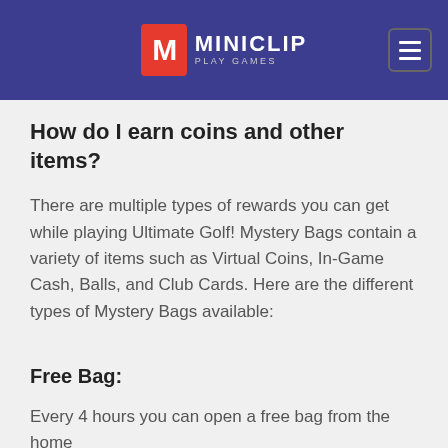MINICLIP PLAY GAMES
How do I earn coins and other items?
There are multiple types of rewards you can get while playing Ultimate Golf! Mystery Bags contain a variety of items such as Virtual Coins, In-Game Cash, Balls, and Club Cards. Here are the different types of Mystery Bags available:
Free Bag:
Every 4 hours you can open a free bag from the home